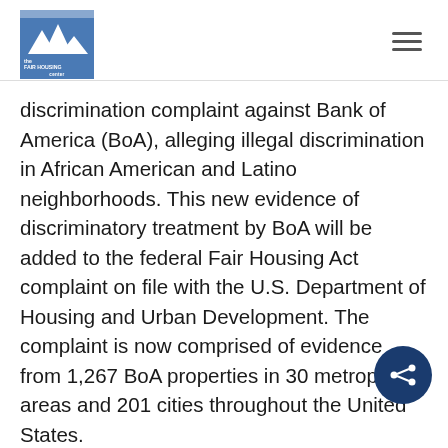The Fair Housing Center [logo] [hamburger menu]
discrimination complaint against Bank of America (BoA), alleging illegal discrimination in African American and Latino neighborhoods. This new evidence of discriminatory treatment by BoA will be added to the federal Fair Housing Act complaint on file with the U.S. Department of Housing and Urban Development. The complaint is now comprised of evidence from 1,267 BoA properties in 30 metropolitan areas and 201 cities throughout the United States.
“Banks should be creating financial opportunities, not contributing to